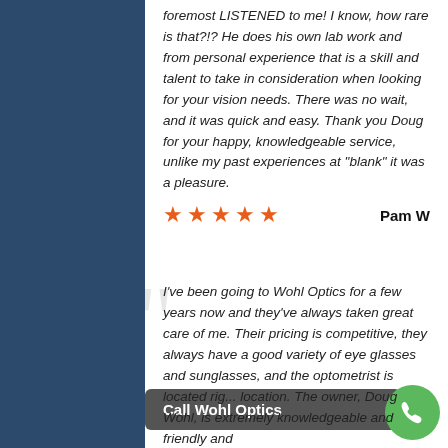foremost LISTENED to me! I know, how rare is that?!? He does his own lab work and from personal experience that is a skill and talent to take in consideration when looking for your vision needs. There was no wait, and it was quick and easy. Thank you Doug for your happy, knowledgeable service, unlike my past experiences at "blank" it was a pleasure.
★★★★★   Pam W
I've been going to Wohl Optics for a few years now and they've always taken great care of me. Their pricing is competitive, they always have a good variety of eye glasses and sunglasses, and the optometrist is located rig... location. The owner, Doug Wohl, is extremely knowledgeable and friendly and
Call Wohl Optics